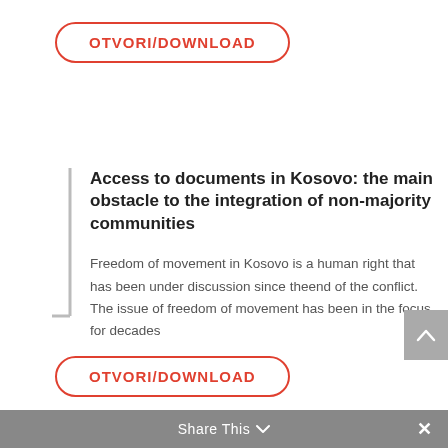[Figure (other): OTVORI/DOWNLOAD button with red rounded border at top of page]
Access to documents in Kosovo: the main obstacle to the integration of non-majority communities
Freedom of movement in Kosovo is a human right that has been under discussion since theend of the conflict. The issue of freedom of movement has been in the focus for decades
[Figure (other): OTVORI/DOWNLOAD button with red rounded border at bottom of page]
Share This ∨  ×